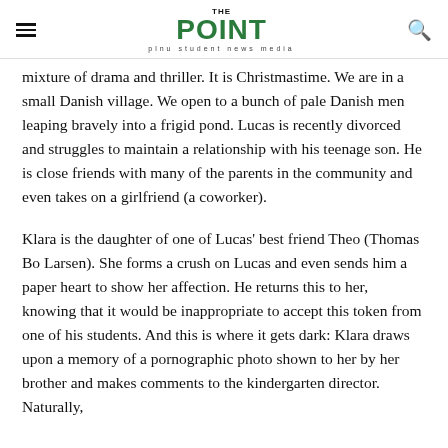THE POINT — plnu student news media
mixture of drama and thriller. It is Christmastime. We are in a small Danish village. We open to a bunch of pale Danish men leaping bravely into a frigid pond. Lucas is recently divorced and struggles to maintain a relationship with his teenage son. He is close friends with many of the parents in the community and even takes on a girlfriend (a coworker).
Klara is the daughter of one of Lucas' best friend Theo (Thomas Bo Larsen). She forms a crush on Lucas and even sends him a paper heart to show her affection. He returns this to her, knowing that it would be inappropriate to accept this token from one of his students. And this is where it gets dark: Klara draws upon a memory of a pornographic photo shown to her by her brother and makes comments to the kindergarten director. Naturally,